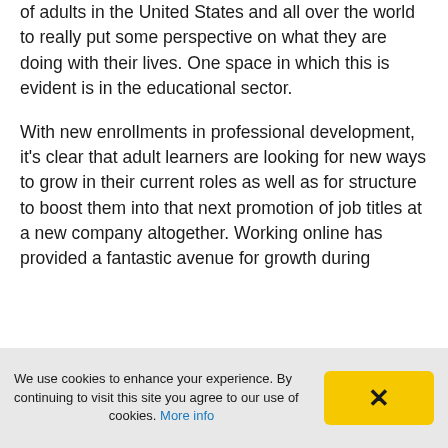of adults in the United States and all over the world to really put some perspective on what they are doing with their lives. One space in which this is evident is in the educational sector.
With new enrollments in professional development, it's clear that adult learners are looking for new ways to grow in their current roles as well as for structure to boost them into that next promotion of job titles at a new company altogether. Working online has provided a fantastic avenue for growth during
We use cookies to enhance your experience. By continuing to visit this site you agree to our use of cookies. More info